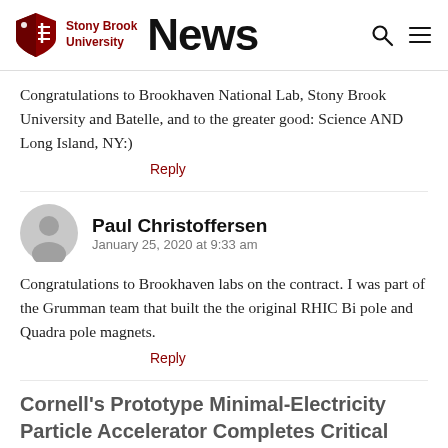Stony Brook University News
Congratulations to Brookhaven National Lab, Stony Brook University and Batelle, and to the greater good: Science AND Long Island, NY:)
Reply
Paul Christoffersen
January 25, 2020 at 9:33 am
Congratulations to Brookhaven labs on the contract. I was part of the Grumman team that built the the original RHIC Bi pole and Quadra pole magnets.
Reply
Cornell's Prototype Minimal-Electricity Particle Accelerator Completes Critical Test - EngNews